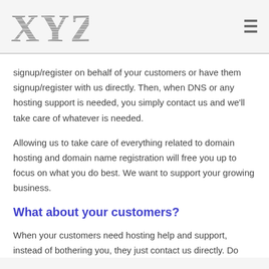XYZ
signup/register on behalf of your customers or have them signup/register with us directly. Then, when DNS or any hosting support is needed, you simply contact us and we'll take care of whatever is needed.
Allowing us to take care of everything related to domain hosting and domain name registration will free you up to focus on what you do best. We want to support your growing business.
What about your customers?
When your customers need hosting help and support, instead of bothering you, they just contact us directly. Do